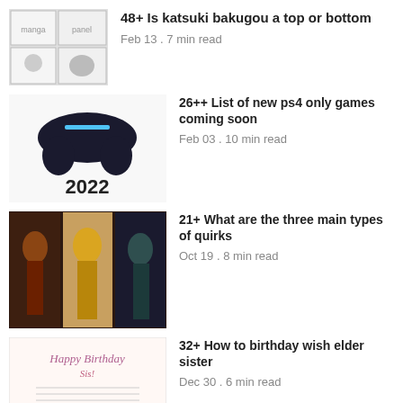48+ Is katsuki bakugou a top or bottom
Feb 13 . 7 min read
26++ List of new ps4 only games coming soon
Feb 03 . 10 min read
21+ What are the three main types of quirks
Oct 19 . 8 min read
32+ How to birthday wish elder sister
Dec 30 . 6 min read
12+ Does jotaro dies in part 6